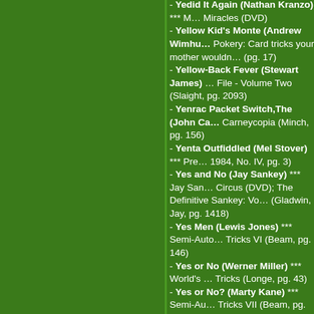Yedid It Again (Nathan Kranzo) *** M… Miracles (DVD)
Yellow Kid's Monte (Andrew Wimhu… Pokery: Card tricks your mother wouldn… (pg. 17)
Yellow-Back Fever (Stewart James) … File - Volume Two (Slaight, pg. 2093)
Yenrac Packet Switch,The (John Ca… Carneycopia (Minch, pg. 156)
Yenta Outfiddled (Mel Stover) *** Pre… 1984, No. IV, pg. 3)
Yes and No (Jay Sankey) *** Jay San… Circus (DVD); The Definitive Sankey: Vo… (Gladwin, Jay, pg. 1418)
Yes Men (Lewis Jones) *** Semi-Auto… Tricks VI (Beam, pg. 146)
Yes or No (Werner Miller) *** World's … Tricks (Longe, pg. 43)
Yes or No? (Marty Kane) *** Semi-Au… Tricks VII (Beam, pg. 84)
Yes We CAAN (John Gelasi) *** Just… 1 (pg. _)
Yes! (Lewis Jones) *** Top Score (pg…
Yes, Sir - Yasir Arafathead's Theory (Gene Gordon & Ronnay) *** Gene Go… Legacy (pg. 177)